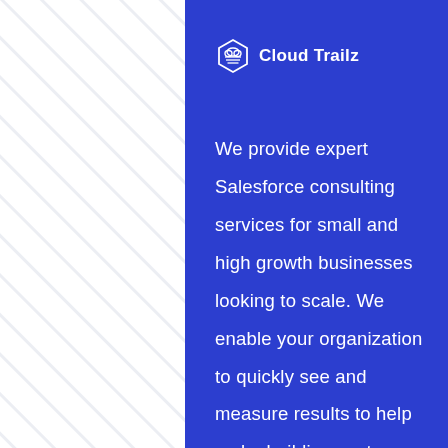[Figure (logo): Cloud Trailz logo — hexagon/cloud icon with stacked layers, followed by the text 'Cloud Trailz' in white on blue background]
We provide expert Salesforce consulting services for small and high growth businesses looking to scale. We enable your organization to quickly see and measure results to help make building customer relationships more efficient.